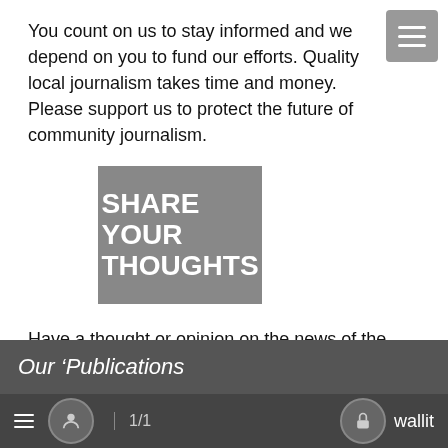You count on us to stay informed and we depend on you to fund our efforts. Quality local journalism takes time and money. Please support us to protect the future of community journalism.
[Figure (illustration): Gray square button with white bold uppercase text reading SHARE YOUR THOUGHTS]
Have a thought or opinion on the news of the day? Get on your soapbox and share your opinions with the world. Send us a Letter to the Editor!
Our  Publications
≡  [user icon]  1/1  [lock icon] wallit